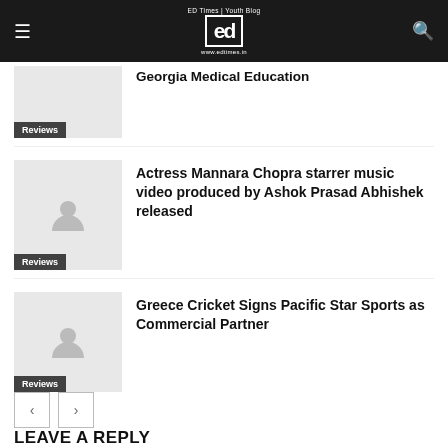ED Times | Youth Blog — www.edtimes.in
Georgia Medical Education
Reviews
Actress Mannara Chopra starrer music video produced by Ashok Prasad Abhishek released
Reviews
Greece Cricket Signs Pacific Star Sports as Commercial Partner
Reviews
LEAVE A REPLY
Comment: